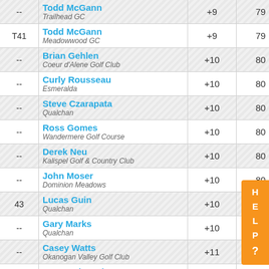| Pos | Player / Club | Score | Total |  |
| --- | --- | --- | --- | --- |
| -- | Todd McGann
Trailhead GC | +9 | 79 |  |
| T41 | Todd McGann
Meadowwood GC | +9 | 79 |  |
| -- | Brian Gehlen
Coeur d'Alene Golf Club | +10 | 80 |  |
| -- | Curly Rousseau
Esmeralda | +10 | 80 |  |
| -- | Steve Czarapata
Qualchan | +10 | 80 |  |
| -- | Ross Gomes
Wandermere Golf Course | +10 | 80 |  |
| -- | Derek Neu
Kalispel Golf & Country Club | +10 | 80 |  |
| -- | John Moser
Dominion Meadows | +10 | 80 |  |
| 43 | Lucas Guin
Qualchan | +10 | 80 |  |
| -- | Gary Marks
Qualchan | +10 | 80 |  |
| -- | Casey Watts
Okanogan Valley Golf Club | +11 | 81 |  |
| 44 | Larry Schwenke
CDA Resort | +11 | 81 |  |
| -- | PETE REED
AVONDALE | +11 | 81 |  |